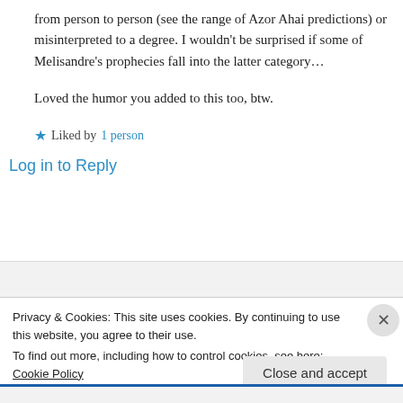from person to person (see the range of Azor Ahai predictions) or misinterpreted to a degree. I wouldn't be surprised if some of Melisandre's prophecies fall into the latter category…

Loved the humor you added to this too, btw.
★ Liked by 1 person
Log in to Reply
Privacy & Cookies: This site uses cookies. By continuing to use this website, you agree to their use.
To find out more, including how to control cookies, see here: Cookie Policy